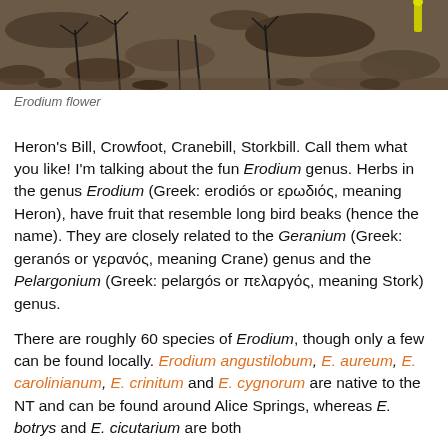[Figure (photo): Close-up photograph of Erodium flowers growing among rocks and dry ground, with a small yellow flower visible on the right side.]
Erodium flower
Heron's Bill, Crowfoot, Cranebill, Storkbill. Call them what you like! I'm talking about the fun Erodium genus. Herbs in the genus Erodium (Greek: erodiós or ερωδιός, meaning Heron), have fruit that resemble long bird beaks (hence the name). They are closely related to the Geranium (Greek: geranós or γερανός, meaning Crane) genus and the Pelargonium (Greek: pelargós or πελαργός, meaning Stork) genus.
There are roughly 60 species of Erodium, though only a few can be found locally. Erodium angustilobum, E. aureum, E. carolinianum, E. crinitum and E. cygnorum are native to the NT and can be found around Alice Springs, whereas E. botrys and E. cicutarium are both